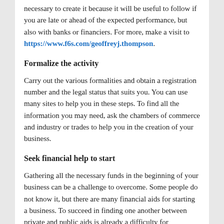necessary to create it because it will be useful to follow if you are late or ahead of the expected performance, but also with banks or financiers. For more, make a visit to https://www.f6s.com/geoffreyj.thompson.
Formalize the activity
Carry out the various formalities and obtain a registration number and the legal status that suits you. You can use many sites to help you in these steps. To find all the information you may need, ask the chambers of commerce and industry or trades to help you in the creation of your business.
Seek financial help to start
Gathering all the necessary funds in the beginning of your business can be a challenge to overcome. Some people do not know it, but there are many financial aids for starting a business. To succeed in finding one another between private and public aids is already a difficulty for